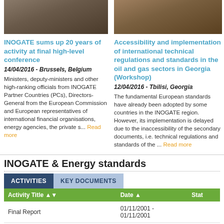[Figure (photo): Group photo of officials at high-level conference, indoor setting with stairs background]
[Figure (photo): Officials seated at a conference table, workshop meeting in Georgia]
INOGATE sums up 20 years of activity at final high-level conference
14/04/2016 - Brussels, Belgium
Ministers, deputy-ministers and other high-ranking officials from INOGATE Partner Countries (PCs), Directors-General from the European Commission and European representatives of international financial organisations, energy agencies, the private s... Read more
Accessibility and implementation of international technical regulations and standards in the oil and gas sectors in Georgia (Workshop)
12/04/2016 - Tbilisi, Georgia
The fundamental European standards have already been adopted by some countries in the INOGATE region. However, its implementation is delayed due to the inaccessibility of the secondary documents, i.e. technical regulations and standards of the ... Read more
INOGATE & Energy standards
ACTIVITIES
KEY DOCUMENTS
| Activity Title ▲▼ | Date ▲ | Stat |
| --- | --- | --- |
| Final Report | 01/11/2001 - 01/11/2001 |  |